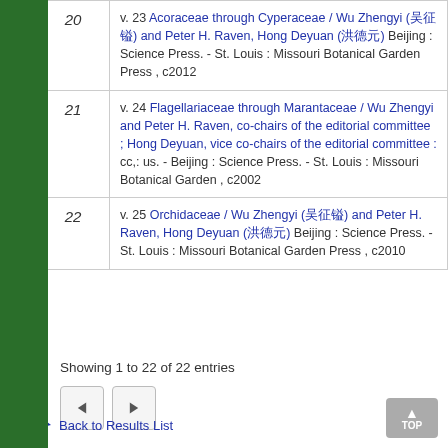| # | Entry |
| --- | --- |
| 20 | v. 23 Acoraceae through Cyperaceae / Wu Zhengyi (吴征镒) and Peter H. Raven, Hong Deyuan (洪德元) Beijing : Science Press. - St. Louis : Missouri Botanical Garden Press , c2012 |
| 21 | v. 24 Flagellariaceae through Marantaceae / Wu Zhengyi and Peter H. Raven, co-chairs of the editorial committee ; Hong Deyuan, vice co-chairs of the editorial committee : cc,: us. - Beijing : Science Press. - St. Louis : Missouri Botanical Garden , c2002 |
| 22 | v. 25 Orchidaceae / Wu Zhengyi (吴征镒) and Peter H. Raven, Hong Deyuan (洪德元) Beijing : Science Press. - St. Louis : Missouri Botanical Garden Press , c2010 |
Showing 1 to 22 of 22 entries
Back to Results List